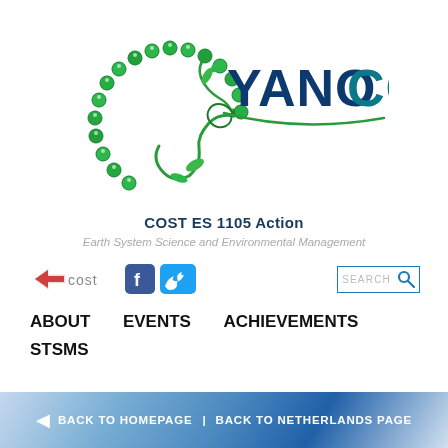[Figure (logo): YANOCOST spiral logo with green gem-studded circular arc and stylized plant/swirl, with YANOCOST text in navy/teal bold font]
COST ES 1105 Action
Earth System Science and Environmental Management
[Figure (logo): Navigation bar with COST logo, Facebook icon, Twitter icon, and SEARCH input box with magnifying glass]
ABOUT   EVENTS   ACHIEVEMENTS   STSMS
◄ BACK TO HOMEPAGE  |  BACK TO NETHERLANDS PAGE